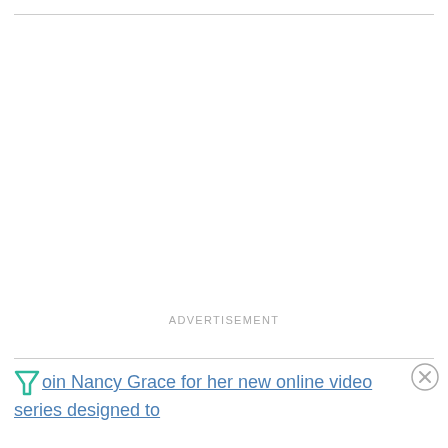[Figure (other): Advertisement placeholder area with top horizontal rule and ADVERTISEMENT label text]
Join Nancy Grace for her new online video series designed to